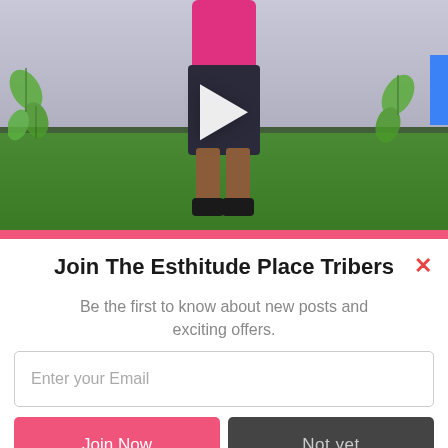[Figure (screenshot): Video thumbnail showing a person standing on a green carpet in front of a decorated wall with plant motifs. A white play button triangle is centered on the image.]
Join The Esthitude Place Tribers
Be the first to know about new posts and exciting offers.
Enter your Email
Join Now
Not yet